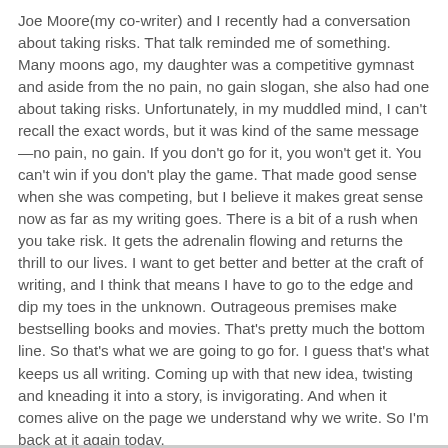Joe Moore(my co-writer) and I recently had a conversation about taking risks. That talk reminded me of something. Many moons ago, my daughter was a competitive gymnast and aside from the no pain, no gain slogan, she also had one about taking risks. Unfortunately, in my muddled mind, I can't recall the exact words, but it was kind of the same message—no pain, no gain. If you don't go for it, you won't get it. You can't win if you don't play the game. That made good sense when she was competing, but I believe it makes great sense now as far as my writing goes. There is a bit of a rush when you take risk. It gets the adrenalin flowing and returns the thrill to our lives. I want to get better and better at the craft of writing, and I think that means I have to go to the edge and dip my toes in the unknown. Outrageous premises make bestselling books and movies. That's pretty much the bottom line. So that's what we are going to go for. I guess that's what keeps us all writing. Coming up with that new idea, twisting and kneading it into a story, is invigorating. And when it comes alive on the page we understand why we write. So I'm back at it again today.